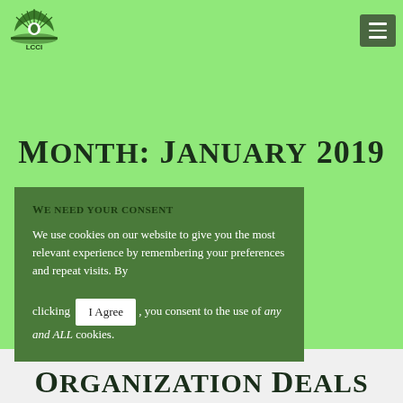[Figure (logo): LCCI organization logo — green peacock/tree semicircle with 'LCCI' text beneath]
Month: January 2019
We need your consent
We use cookies on our website to give you the most relevant experience by remembering your preferences and repeat visits. By clicking I Agree , you consent to the use of any and ALL cookies.
Organization Deals